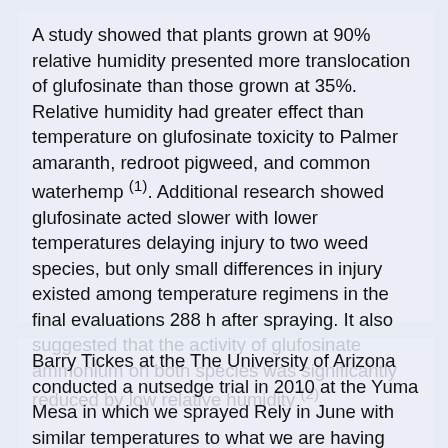A study showed that plants grown at 90% relative humidity presented more translocation of glufosinate than those grown at 35%. Relative humidity had greater effect than temperature on glufosinate toxicity to Palmer amaranth, redroot pigweed, and common waterhemp (1). Additional research showed glufosinate acted slower with lower temperatures delaying injury to two weed species, but only small differences in injury existed among temperature regimens in the final evaluations 288 h after spraying. It also suggested that the activity of glufosinate ammonium on both species was significantly reduced by low relative humidity (2).
Barry Tickes at the The University of Arizona conducted a nutsedge trial in 2010 at the Yuma Mesa in which we sprayed Rely in June with similar temperatures to what we are having today and humidity below 20%. Then, a second application was done in August, which averaged